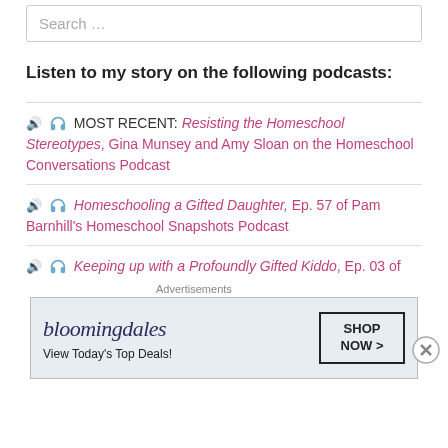Search …
Listen to my story on the following podcasts:
🔊 🎧 MOST RECENT: Resisting the Homeschool Stereotypes, Gina Munsey and Amy Sloan on the Homeschool Conversations Podcast
🔊 🎧 Homeschooling a Gifted Daughter, Ep. 57 of Pam Barnhill's Homeschool Snapshots Podcast
🔊 🎧 Keeping up with a Profoundly Gifted Kiddo, Ep. 03 of
Advertisements
[Figure (infographic): Bloomingdale's advertisement banner: View Today's Top Deals! SHOP NOW >]